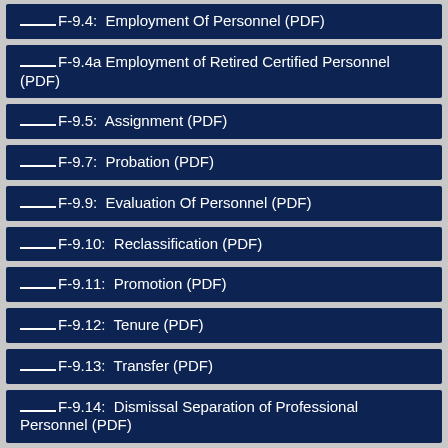____F-9.4:  Employment Of Personnel (PDF)
____F-9.4a Employment of Retired Certified Personnel (PDF)
____F-9.5:  Assignment (PDF)
____F-9.7:  Probation (PDF)
____F-9.9:  Evaluation Of Personnel (PDF)
____F-9.10:  Reclassification (PDF)
____F-9.11:  Promotion (PDF)
____F-9.12:  Tenure (PDF)
____F-9.13:  Transfer (PDF)
____F-9.14:  Dismissal Separation of Professional Personnel (PDF)